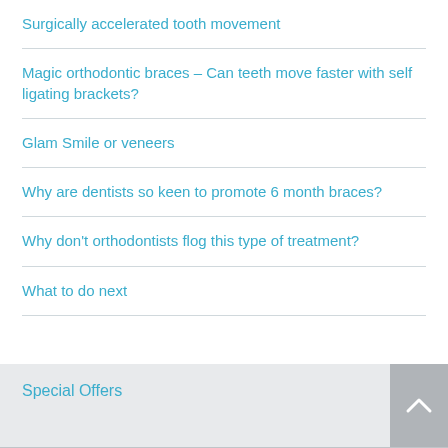Surgically accelerated tooth movement
Magic orthodontic braces – Can teeth move faster with self ligating brackets?
Glam Smile or veneers
Why are dentists so keen to promote 6 month braces?
Why don't orthodontists flog this type of treatment?
What to do next
Special Offers